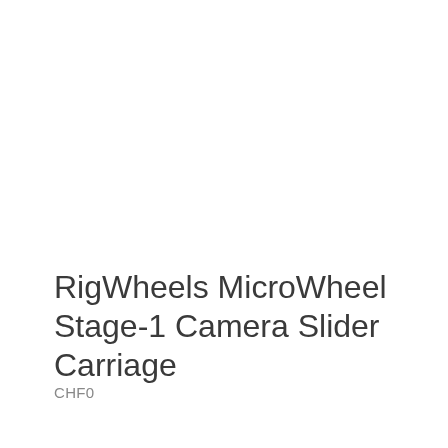RigWheels MicroWheel Stage-1 Camera Slider Carriage
CHF0